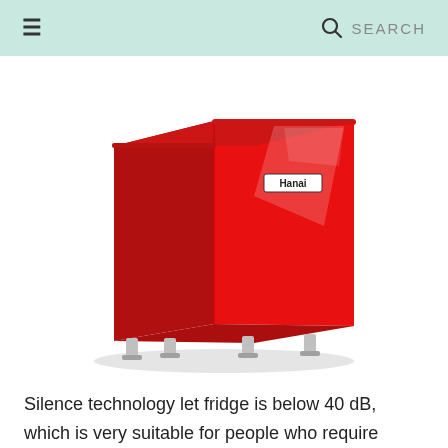≡  🔍 SEARCH
[Figure (photo): A compact red Haier mini fridge with a glossy finish, shown at a slight angle. The fridge has a white brand label reading 'Hanai' (Haier) on the door, and four small metallic adjustable feet at the bottom.]
Silence technology let fridge is below 40 dB, which is very suitable for people who require quietness for living